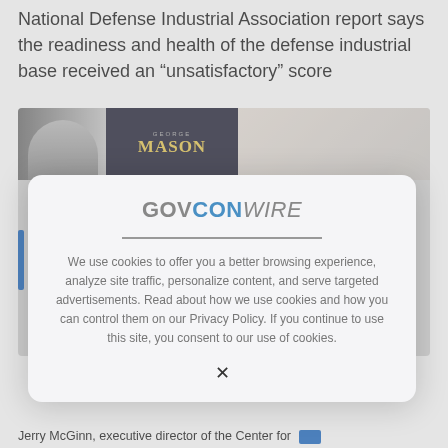National Defense Industrial Association report says the readiness and health of the defense industrial base received an “unsatisfactory” score
[Figure (screenshot): Background page screenshot showing a George Mason University branded image strip at top, a gray content area, a blue vertical accent bar on the left side, and partial text at the bottom reading 'Jerry McGinn, executive director of the Center for']
[Figure (screenshot): GovConWire cookie consent modal dialog with logo, consent text, and close button (X)]
We use cookies to offer you a better browsing experience, analyze site traffic, personalize content, and serve targeted advertisements. Read about how we use cookies and how you can control them on our Privacy Policy. If you continue to use this site, you consent to our use of cookies.
Jerry McGinn, executive director of the Center for